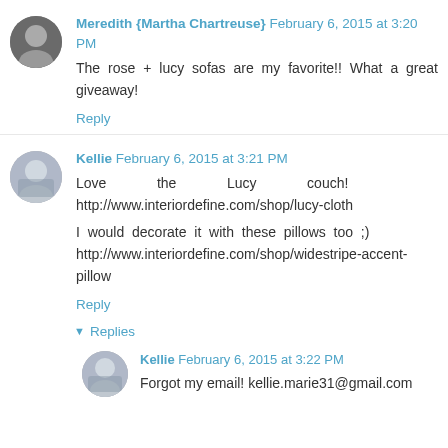Meredith {Martha Chartreuse} February 6, 2015 at 3:20 PM
The rose + lucy sofas are my favorite!! What a great giveaway!
Reply
Kellie February 6, 2015 at 3:21 PM
Love the Lucy couch! http://www.interiordefine.com/shop/lucy-cloth
I would decorate it with these pillows too ;) http://www.interiordefine.com/shop/widestripe-accent-pillow
Reply
Replies
Kellie February 6, 2015 at 3:22 PM
Forgot my email! kellie.marie31@gmail.com